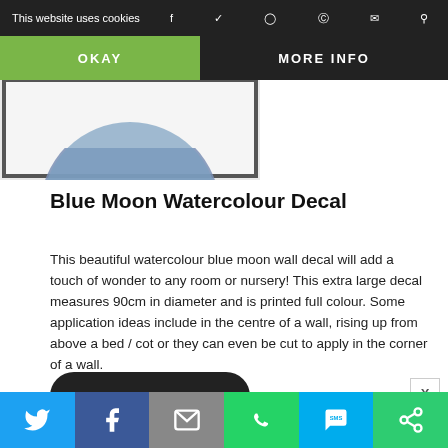This website uses cookies
OKAY
MORE INFO
[Figure (photo): Framed blue moon watercolour artwork, showing bottom portion of circular blue moon on white background with dark frame border]
Blue Moon Watercolour Decal
This beautiful watercolour blue moon wall decal will add a touch of wonder to any room or nursery! This extra large decal measures 90cm in diameter and is printed full colour. Some application ideas include in the centre of a wall, rising up from above a bed / cot or they can even be cut to apply in the corner of a wall.
BUY FROM ETSY
Twitter | Facebook | Email | WhatsApp | SMS | Other share icons